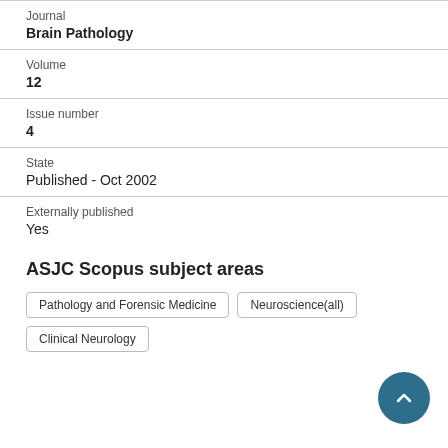Journal
Brain Pathology
Volume
12
Issue number
4
State
Published - Oct 2002
Externally published
Yes
ASJC Scopus subject areas
Pathology and Forensic Medicine
Neuroscience(all)
Clinical Neurology